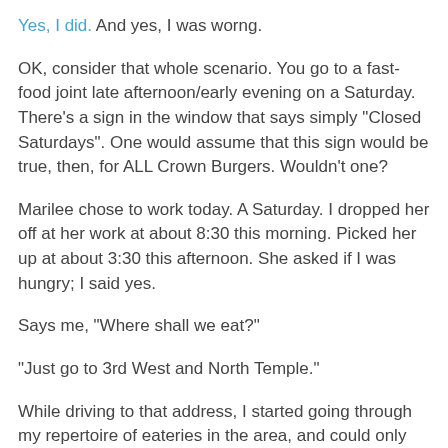Yes, I did. And yes, I was worng.
OK, consider that whole scenario. You go to a fast-food joint late afternoon/early evening on a Saturday. There's a sign in the window that says simply "Closed Saturdays". One would assume that this sign would be true, then, for ALL Crown Burgers. Wouldn't one?
Marilee chose to work today. A Saturday. I dropped her off at her work at about 8:30 this morning. Picked her up at about 3:30 this afternoon. She asked if I was hungry; I said yes.
Says me, "Where shall we eat?"
"Just go to 3rd West and North Temple."
While driving to that address, I started going through my repertoire of eateries in the area, and could only think of three - a Subway on the northwest corner, a Dee's a couple blocks to the east, and... Crown Burgers on the northeast corner.